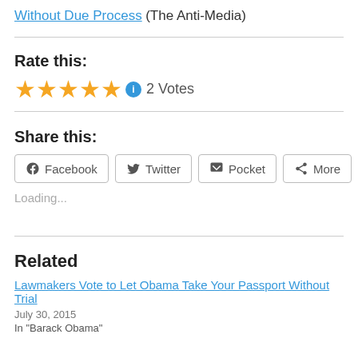Without Due Process (The Anti-Media)
Rate this:
★★★★★ ⓘ 2 Votes
Share this:
Facebook  Twitter  Pocket  More
Loading...
Related
Lawmakers Vote to Let Obama Take Your Passport Without Trial
July 30, 2015
In "Barack Obama"